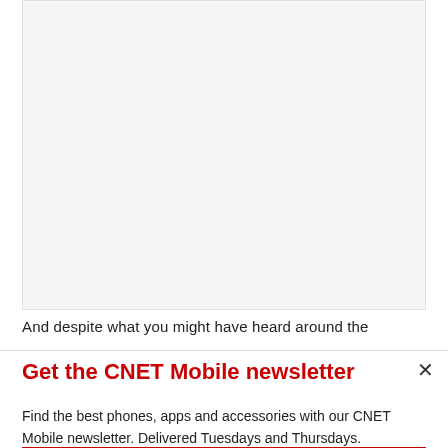[Figure (other): Large light gray placeholder image area]
And despite what you might have heard around the
Get the CNET Mobile newsletter
Find the best phones, apps and accessories with our CNET Mobile newsletter. Delivered Tuesdays and Thursdays.